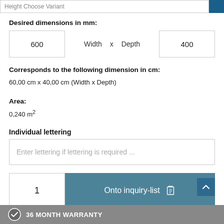Height Choose Variant
Desired dimensions in mm:
| 600 | Width | x | Depth | 400 |
| --- | --- | --- | --- | --- |
Corresponds to the following dimension in cm:
60,00 cm x 40,00 cm (Width x Depth)
Area:
0,240 m²
Individual lettering
Enter lettering if lettering is required ...
1
Onto inquiry-list
36 MONTH WARRANTY